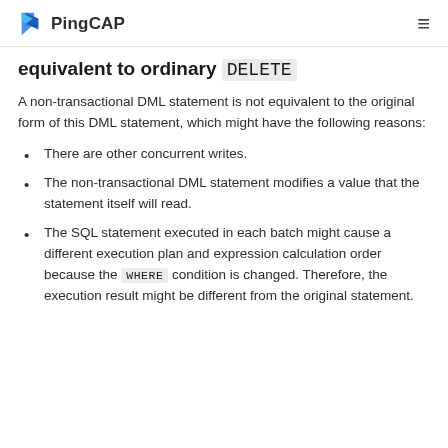PingCAP
equivalent to ordinary DELETE
A non-transactional DML statement is not equivalent to the original form of this DML statement, which might have the following reasons:
There are other concurrent writes.
The non-transactional DML statement modifies a value that the statement itself will read.
The SQL statement executed in each batch might cause a different execution plan and expression calculation order because the WHERE condition is changed. Therefore, the execution result might be different from the original statement.